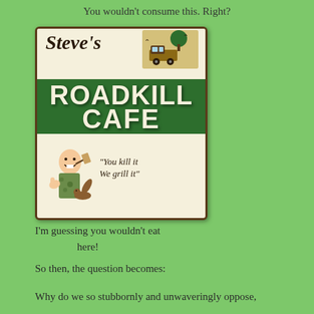You wouldn't consume this. Right?
[Figure (illustration): Vintage-style sign for 'Steve's Roadkill Cafe' with a chef character and the slogan 'You kill it We grill it' on a green and cream background. Features a truck illustration at the top.]
I'm guessing you wouldn't eat here!
So then, the question becomes:
Why do we so stubbornly and unwaveringly oppose,